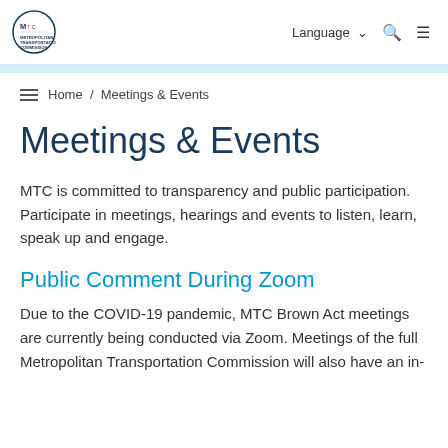METROPOLITAN TRANSPORTATION COMMISSION | Language | Search | Menu
Home / Meetings & Events
Meetings & Events
MTC is committed to transparency and public participation. Participate in meetings, hearings and events to listen, learn, speak up and engage.
Public Comment During Zoom
Due to the COVID-19 pandemic, MTC Brown Act meetings are currently being conducted via Zoom. Meetings of the full Metropolitan Transportation Commission will also have an in-